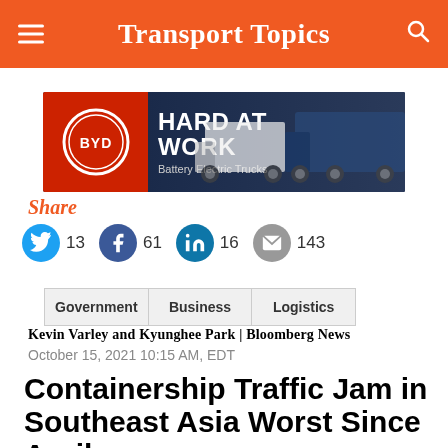Transport Topics
[Figure (illustration): BYD advertisement banner: red left panel with BYD oval logo, dark blue right panel with electric trucks and text 'HARD AT WORK Battery Electric Trucks']
Share
13  61  16  143
Government  Business  Logistics
Kevin Varley and Kyunghee Park | Bloomberg News
October 15, 2021 10:15 AM, EDT
Containership Traffic Jam in Southeast Asia Worst Since April